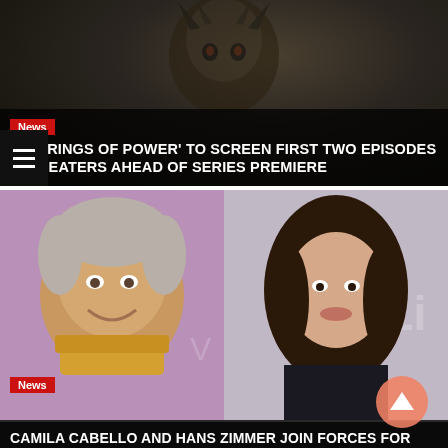[Figure (photo): Dark creature/monster image from 'The Rings of Power' with dark background]
News
'THE RINGS OF POWER' TO SCREEN FIRST TWO EPISODES IN THEATERS AHEAD OF SERIES PREMIERE
[Figure (photo): Split photo: Hans Zimmer (left, older man with grey hair and yellow scarf) and Camila Cabello (right, young woman with dark hair)]
News
CAMILA CABELLO AND HANS ZIMMER JOIN FORCES FOR NEW 'FROZEN PLANET II' TUNE
[Figure (photo): Partial view of two people at bottom of page, cropped]